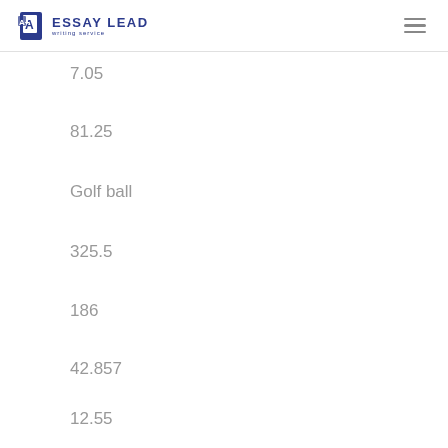ESSAY LEAD writing service
7.05
81.25
Golf ball
325.5
186
42.857
12.55
32.5